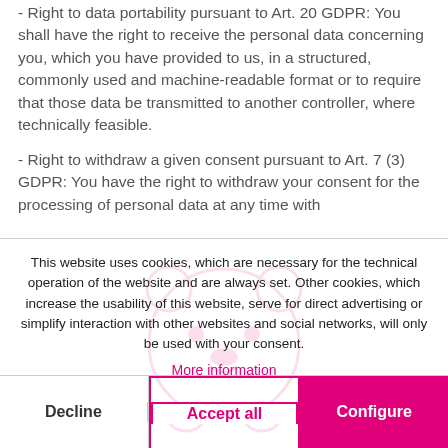- Right to data portability pursuant to Art. 20 GDPR: You shall have the right to receive the personal data concerning you, which you have provided to us, in a structured, commonly used and machine-readable format or to require that those data be transmitted to another controller, where technically feasible.
- Right to withdraw a given consent pursuant to Art. 7 (3) GDPR: You have the right to withdraw your consent for the processing of personal data at any time with
This website uses cookies, which are necessary for the technical operation of the website and are always set. Other cookies, which increase the usability of this website, serve for direct advertising or simplify interaction with other websites and social networks, will only be used with your consent.
More information
Decline
Accept all
Configure